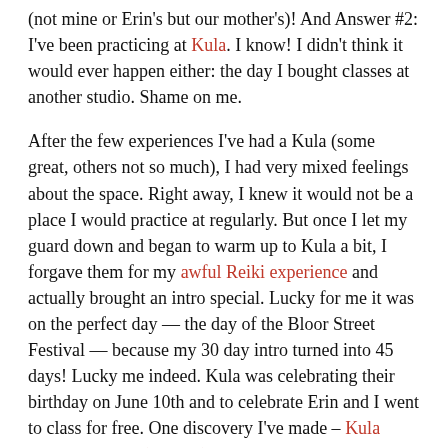(not mine or Erin's but our mother's)! And Answer #2: I've been practicing at Kula. I know! I didn't think it would ever happen either: the day I bought classes at another studio. Shame on me.
After the few experiences I've had a Kula (some great, others not so much), I had very mixed feelings about the space. Right away, I knew it would not be a place I would practice at regularly. But once I let my guard down and began to warm up to Kula a bit, I forgave them for my awful Reiki experience and actually brought an intro special. Lucky for me it was on the perfect day — the day of the Bloor Street Festival — because my 30 day intro turned into 45 days! Lucky me indeed. Kula was celebrating their birthday on June 10th and to celebrate Erin and I went to class for free. One discovery I've made – Kula loves birthdays (as do I!) whether it's theirs or yours, there's free yoga for everyone!